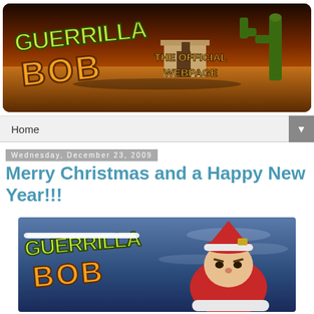[Figure (illustration): Guerrilla Bob game header banner with desert background, cactus, adobe building, and text 'Guerrilla Bob - The Official Webpage' in stylized cartoon fonts]
Home
Wednesday, December 23, 2009
Merry Christmas and a Happy New Year!!!
[Figure (illustration): Guerrilla Bob Christmas themed banner showing the game logo with snow on top and a cartoon soldier character wearing a Santa hat, against a blue sky background]